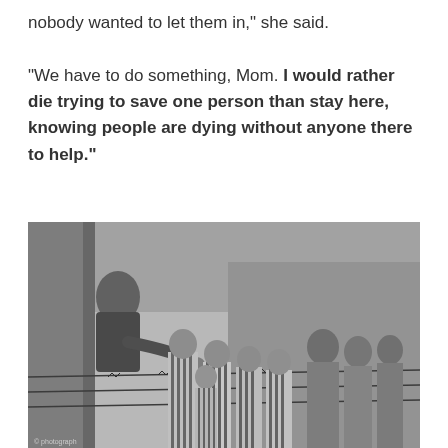nobody wanted to let them in,” she said.

“We have to do something, Mom. I would rather die trying to save one person than stay here, knowing people are dying without anyone there to help.”
[Figure (photo): Black and white historical photograph showing concentration camp prisoners, including children in striped uniforms, standing behind a barbed wire fence. An adult figure leans over the fence toward them.]